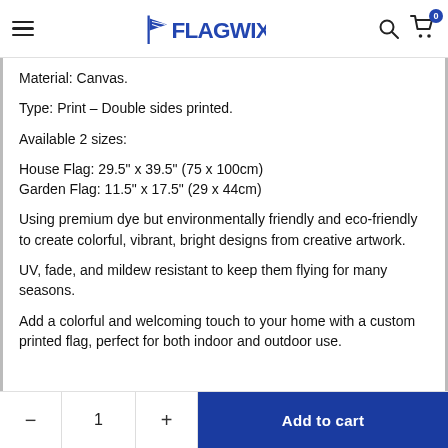Flagwix — navigation header with hamburger menu, logo, search and cart icons
Material: Canvas.
Type: Print – Double sides printed.
Available 2 sizes:
House Flag: 29.5" x 39.5" (75 x 100cm)
Garden Flag: 11.5" x 17.5" (29 x 44cm)
Using premium dye but environmentally friendly and eco-friendly to create colorful, vibrant, bright designs from creative artwork.
UV, fade, and mildew resistant to keep them flying for many seasons.
Add a colorful and welcoming touch to your home with a custom printed flag, perfect for both indoor and outdoor use.
Quantity selector: − 1 + | Add to cart button